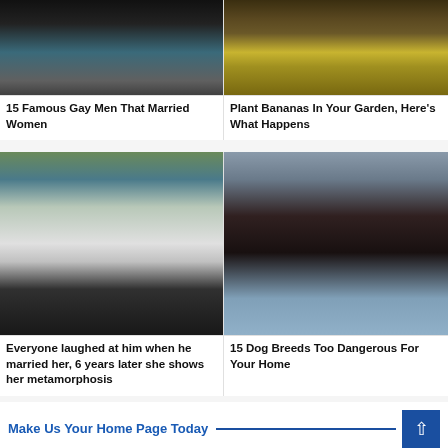[Figure (photo): Close-up photo of a man's face with short hair, wearing a teal/blue shirt and dark jacket, against a black background]
[Figure (photo): Photo of banana plants/stems in soil outdoors]
15 Famous Gay Men That Married Women
Plant Bananas In Your Garden, Here's What Happens
[Figure (photo): Wedding photo of a large woman in a white dress and veil holding flowers, standing next to a man in military uniform, outdoors near water]
[Figure (photo): Close-up photo of a dark-colored dog's face against a light blue/grey background]
Everyone laughed at him when he married her, 6 years later she shows her metamorphosis
15 Dog Breeds Too Dangerous For Your Home
Make Us Your Home Page Today